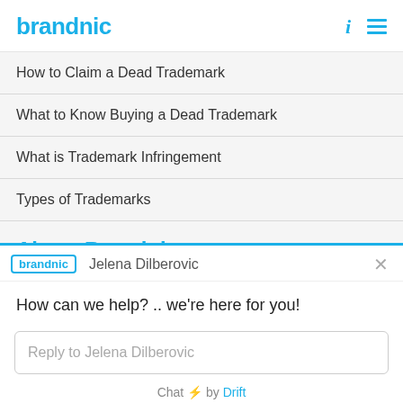brandnic
How to Claim a Dead Trademark
What to Know Buying a Dead Trademark
What is Trademark Infringement
Types of Trademarks
About Brandnic
All Brand Names
[Figure (screenshot): Drift chat widget showing brandnic logo, agent Jelena Dilberovic, message 'How can we help? .. we're here for you!', reply input field, and 'Chat by Drift' footer]
How can we help? .. we're here for you!
Reply to Jelena Dilberovic
Chat ⚡ by Drift